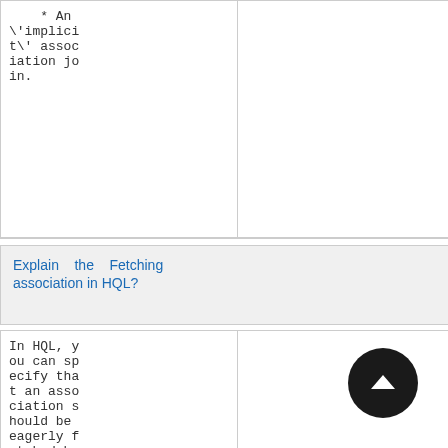* An \'implicit\' association join.
Explain the Fetching association in HQL?
In HQL, you can specify that an association should be eagerly fetched by an outer join using the fetch keyword in the \'from\'